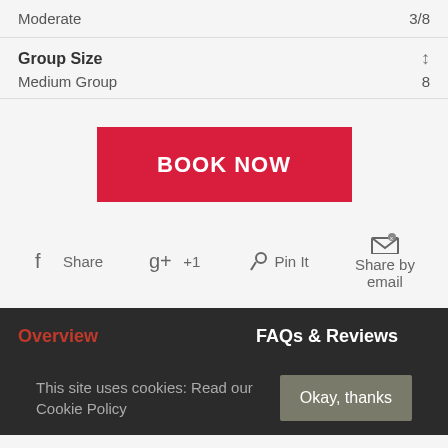Moderate   3/8
Group Size
Medium Group   8
BOOK NOW
Share
+1
Pin It
Share by email
Overview
FAQs & Reviews
This site uses cookies: Read our Cookie Policy
Okay, thanks